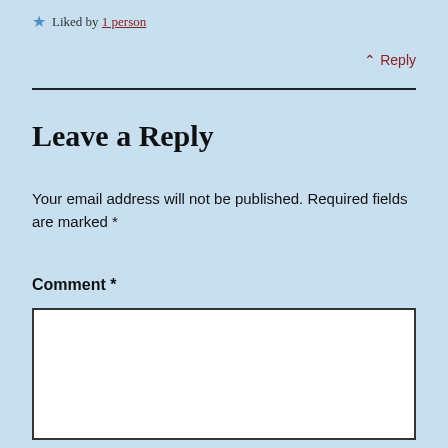★ Liked by 1 person
^ Reply
Leave a Reply
Your email address will not be published. Required fields are marked *
Comment *